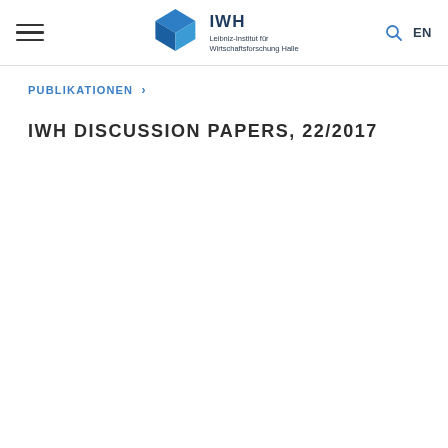IWH – Leibniz-Institut für Wirtschaftsforschung Halle | EN
[Figure (logo): IWH logo with blue cube graphic and text 'IWH Leibniz-Institut für Wirtschaftsforschung Halle']
PUBLIKATIONEN ›
IWH DISCUSSION PAPERS, 22/2017